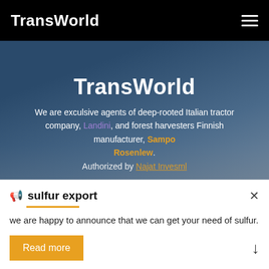TransWorld
TransWorld
We are exculsive agents of deep-rooted Italian tractor company, Landini, and forest harvesters Finnish manufacturer, Sampo Rosenlew. Authorized by Najat Invesml
Download CV
sulfur export
we are happy to announce that we can get your need of sulfur.
Read more